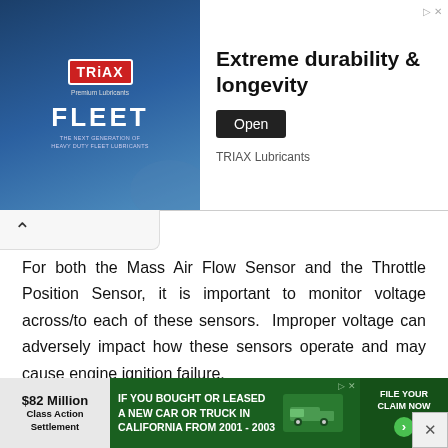[Figure (other): TRIAX Lubricants FLEET advertisement banner at top of page. Shows TRIAX logo with eagle, FLEET text, and tagline 'THE NEXT GENERATION OF HEAVY DUTY FLEET LUBRICANTS'. Right side shows 'Extreme durability & longevity', 'TRIAX Lubricants' brand name, and 'Open' button. Navigation arrow icons top right.]
For both the Mass Air Flow Sensor and the Throttle Position Sensor, it is important to monitor voltage across/to each of these sensors.  Improper voltage can adversely impact how these sensors operate and may cause engine ignition failure.
If the engine starts but will not continue running/idle, there are other items that may need to be considered as well.  In many instances, a rough idle/stalling engine may be caused by dirty/damaged fuel injectors.  Cleaning (and, if necessary, replacing) the fuel injectors may resolve this issue.  Carbon build up in the throttle body can also cause the same symptoms... with the
[Figure (other): Bottom advertisement banner: '$82 Million Class Action Settlement' on left. Center green panel: 'IF YOU BOUGHT OR LEASED A NEW CAR OR TRUCK IN CALIFORNIA FROM 2001 - 2003'. Right: 'FILE YOUR CLAIM NOW' button with arrow. Ad icons top right corner.]